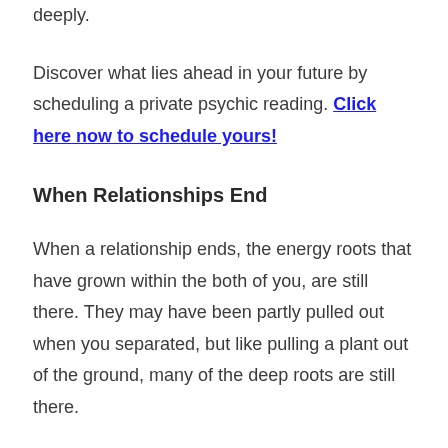deeply.
Discover what lies ahead in your future by scheduling a private psychic reading. Click here now to schedule yours!
When Relationships End
When a relationship ends, the energy roots that have grown within the both of you, are still there. They may have been partly pulled out when you separated, but like pulling a plant out of the ground, many of the deep roots are still there.